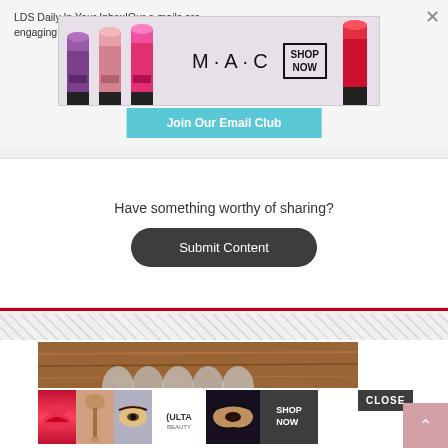LDS Daily In Your Inbox!Our e-mails are engaging, fun, and informative... e-mail with us
[Figure (screenshot): MAC cosmetics advertisement banner with lipstick products, MAC wordmark, and SHOP NOW button]
Join Our Email Club
Have something worthy of sharing?
Submit Content
[Figure (screenshot): ULTA beauty advertisement banner with makeup product images, ULTA logo, and SHOP NOW button]
CLOSE